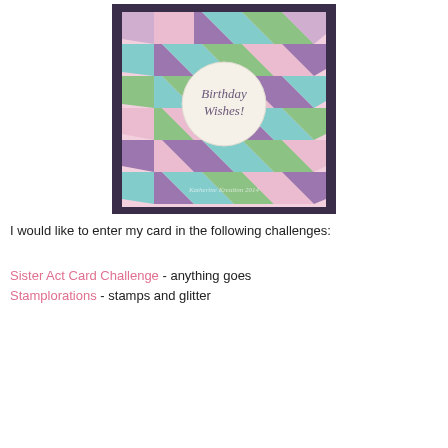[Figure (photo): A handmade birthday card with a herringbone/chevron glitter pattern in pink, purple, teal, and green colors. A cream circular label in the center reads 'Birthday Wishes!' in script. The card is mounted on a dark purple/navy background. Watermark reads 'Katherine Kreation 2014'.]
I would like to enter my card in the following challenges:
Sister Act Card Challenge - anything goes
Stamplorations - stamps and glitter